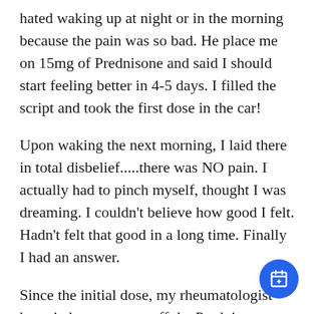hated waking up at night or in the morning because the pain was so bad. He place me on 15mg of Prednisone and said I should start feeling better in 4-5 days. I filled the script and took the first dose in the car!
Upon waking the next morning, I laid there in total disbelief.....there was NO pain. I actually had to pinch myself, thought I was dreaming. I couldn't believe how good I felt. Hadn't felt that good in a long time. Finally I had an answer.
Since the initial dose, my rheumatologist has tried to wean me off the Prednisone with little success. I did get down to 2.5mg's last month, but unfortunately had a relapse ironically while visiting the Rochester Mayo